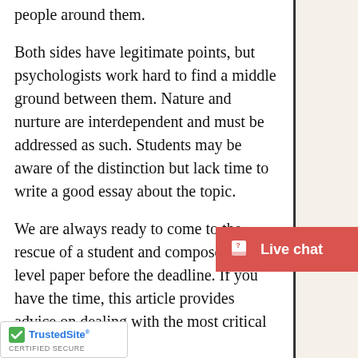people around them.
Both sides have legitimate points, but psychologists work hard to find a middle ground between them. Nature and nurture are interdependent and must be addressed as such. Students may be aware of the distinction but lack time to write a good essay about the topic.
We are always ready to come to the rescue of a student and compose an A-level paper before the deadline. If you have the time, this article provides advice on dealing with the most critical difficulties.
FAQs
s The Nature Vs. Nurture